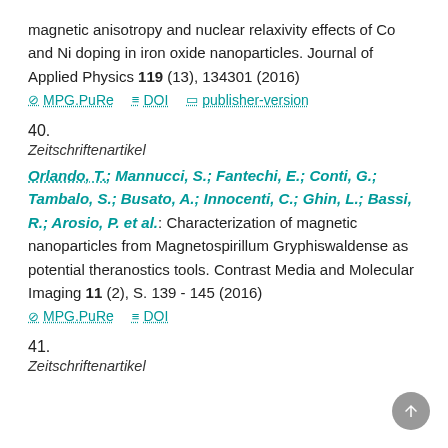magnetic anisotropy and nuclear relaxivity effects of Co and Ni doping in iron oxide nanoparticles. Journal of Applied Physics 119 (13), 134301 (2016)
MPG.PuRe  DOI  publisher-version
40.
Zeitschriftenartikel
Orlando, T.; Mannucci, S.; Fantechi, E.; Conti, G.; Tambalo, S.; Busato, A.; Innocenti, C.; Ghin, L.; Bassi, R.; Arosio, P. et al.: Characterization of magnetic nanoparticles from Magnetospirillum Gryphiswaldense as potential theranostics tools. Contrast Media and Molecular Imaging 11 (2), S. 139 - 145 (2016)
MPG.PuRe  DOI
41.
Zeitschriftenartikel